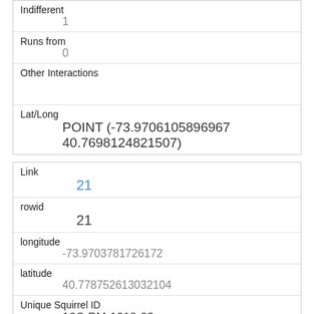| Indifferent | 1 |
| Runs from | 0 |
| Other Interactions |  |
| Lat/Long | POINT (-73.9706105896967 40.7698124821507) |
| Link | 21 |
| rowid | 21 |
| longitude | -73.9703781726172 |
| latitude | 40.778752613032104 |
| Unique Squirrel ID | 16C-PM-1018-03 |
| Hectare | 16C |